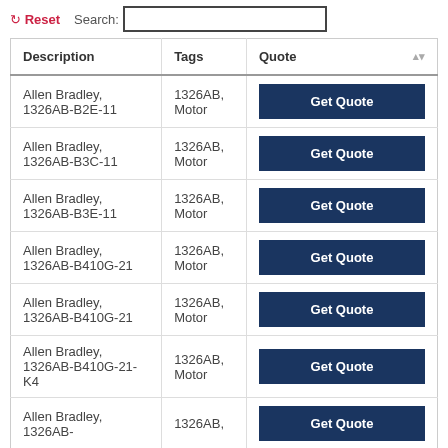↺ Reset   Search:
| Description | Tags | Quote |
| --- | --- | --- |
| Allen Bradley, 1326AB-B2E-11 | 1326AB, Motor | Get Quote |
| Allen Bradley, 1326AB-B3C-11 | 1326AB, Motor | Get Quote |
| Allen Bradley, 1326AB-B3E-11 | 1326AB, Motor | Get Quote |
| Allen Bradley, 1326AB-B410G-21 | 1326AB, Motor | Get Quote |
| Allen Bradley, 1326AB-B410G-21 | 1326AB, Motor | Get Quote |
| Allen Bradley, 1326AB-B410G-21-K4 | 1326AB, Motor | Get Quote |
| Allen Bradley, 1326AB- | 1326AB, | Get Quote |